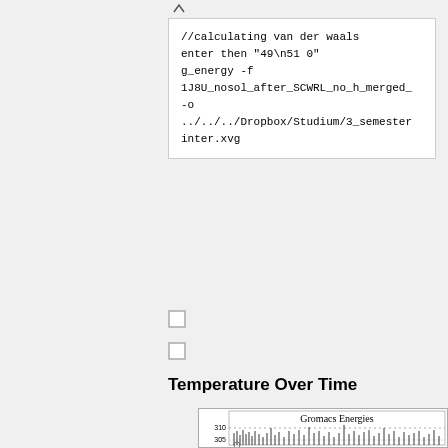[Figure (other): Small up-arrow icon or expand button]
//calculating van der waals
enter then "49\n51 0"
g_energy -f
1J8U_nosol_after_SCWRL_no_h_merged_
-o
../../../Dropbox/Studium/3_semester
inter.xvg
[Figure (other): Checkbox or UI element 1]
[Figure (other): Checkbox or UI element 2]
Temperature Over Time
[Figure (continuous-plot): Gromacs Energies line/bar chart showing temperature over time, y-axis showing values around 305-310]